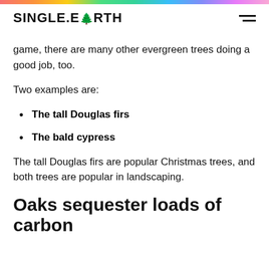SINGLE.EARTH
game, there are many other evergreen trees doing a good job, too.
Two examples are:
The tall Douglas firs
The bald cypress
The tall Douglas firs are popular Christmas trees, and both trees are popular in landscaping.
Oaks sequester loads of carbon